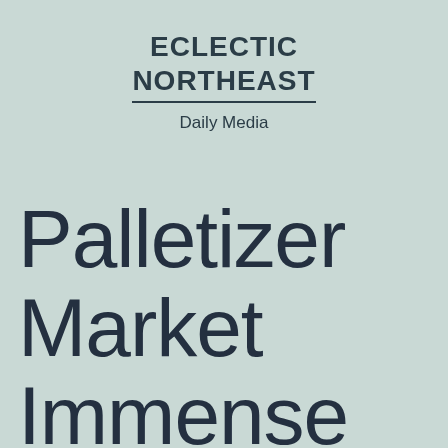ECLECTIC NORTHEAST
Daily Media
Palletizer Market Immense Development